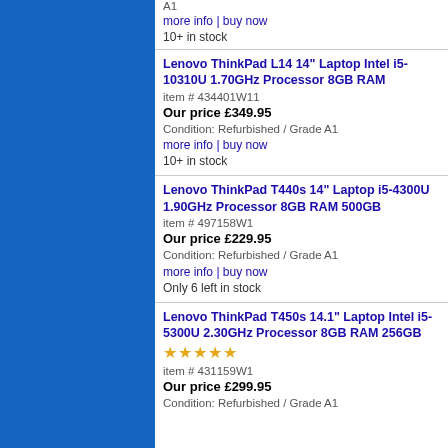[Figure (other): Blue sidebar background]
A1
more info | buy now
10+ in stock
Lenovo ThinkPad L14 14" Laptop Intel i5-10310U 1.70GHz Processor 8GB RAM
item # 434401W11
Our price £349.95
Condition: Refurbished / Grade A1
more info | buy now
10+ in stock
Lenovo ThinkPad T440s 14" Laptop i5-4300U 1.90GHz Processor 8GB RAM 500GB
item # 497158W1
Our price £229.95
Condition: Refurbished / Grade A1
more info | buy now
Only 6 left in stock
Lenovo ThinkPad T450s 14.1" Laptop Intel i5-5300U 2.30GHz Processor 8GB RAM 256GB
★★★★★
item # 431159W1
Our price £299.95
Condition: Refurbished / Grade A1